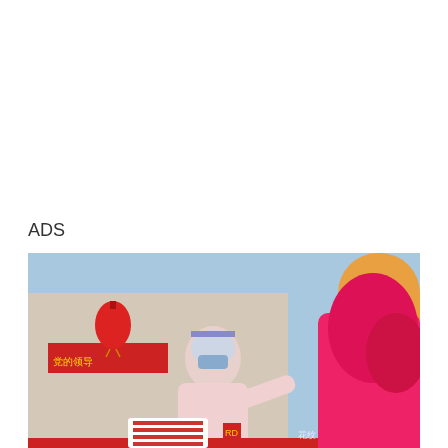ADS
[Figure (photo): A healthcare worker in full PPE (white hazmat suit, face shield, mask) administers a test or hands something to a person wearing a bright pink/red headscarf. A red Chinese lantern hangs on a building in the background. A red cloth covers a table in the foreground. The image has a watermark reading 中新闻 and Chinanews.com.]
News/Politics
3/18/2022, 5:4
Close X
Compatriots in Fujian and Taiwan under the epidemic: "epidemic" road walks together to